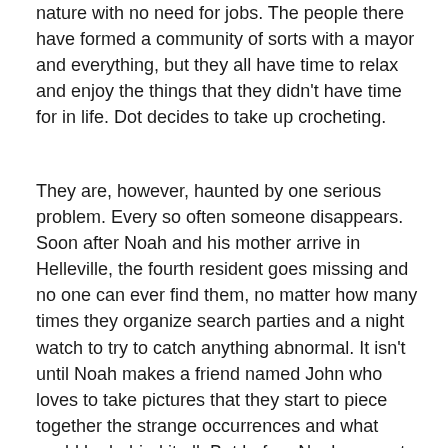nature with no need for jobs. The people there have formed a community of sorts with a mayor and everything, but they all have time to relax and enjoy the things that they didn't have time for in life. Dot decides to take up crocheting.
They are, however, haunted by one serious problem. Every so often someone disappears. Soon after Noah and his mother arrive in Helleville, the fourth resident goes missing and no one can ever find them, no matter how many times they organize search parties and a night watch to try to catch anything abnormal. It isn't until Noah makes a friend named John who loves to take pictures that they start to piece together the strange occurrences and what could be behind it all. But before Noah can get too attached to his new hobby of playing Sherlock Holmes he meets Alex, a boy his own age who seems to like him.